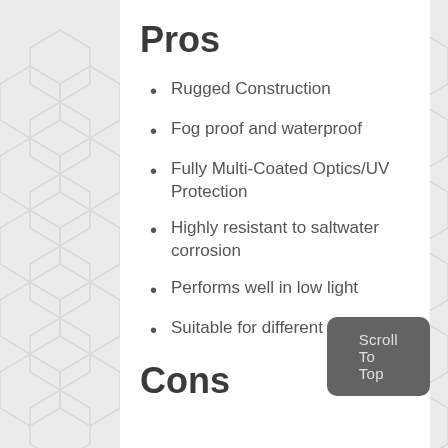Pros
Rugged Construction
Fog proof and waterproof
Fully Multi-Coated Optics/UV Protection
Highly resistant to saltwater corrosion
Performs well in low light
Suitable for different weather
Cons
Scroll To Top